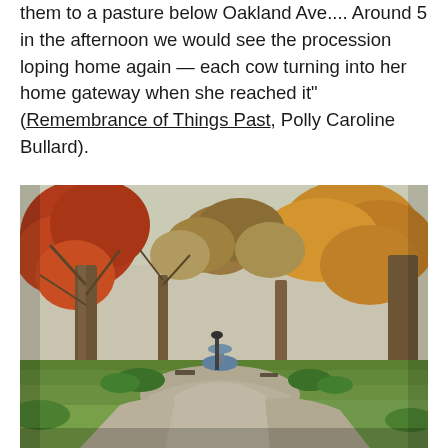them to a pasture below Oakland Ave.... Around 5 in the afternoon we would see the procession loping home again — each cow turning into her home gateway when she reached it" (Remembrance of Things Past, Polly Caroline Bullard).
[Figure (photo): Outdoor park scene in autumn showing large trees with orange, red, and brown leaves, green grass lawn, a curved walkway, benches, and what appears to be a fountain in the background. The scene is likely a city or neighborhood park.]